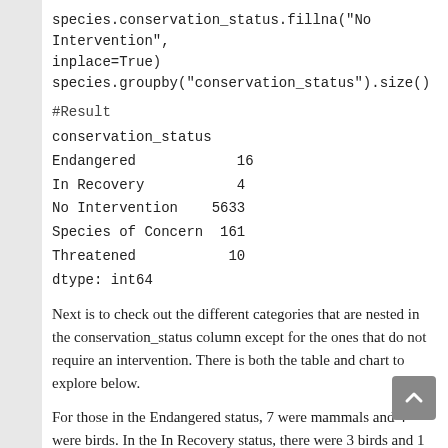species.conservation_status.fillna("No Intervention", inplace=True)
species.groupby("conservation_status").size()
#Result
conservation_status
Endangered 16
In Recovery 4
No Intervention 5633
Species of Concern 161
Threatened 10
dtype: int64
Next is to check out the different categories that are nested in the conservation_status column except for the ones that do not require an intervention. There is both the table and chart to explore below.
For those in the Endangered status, 7 were mammals and 4 were birds. In the In Recovery status, there were 3 birds and 1 mammal, which could mean that the birds are bouncing back more than the mammals.